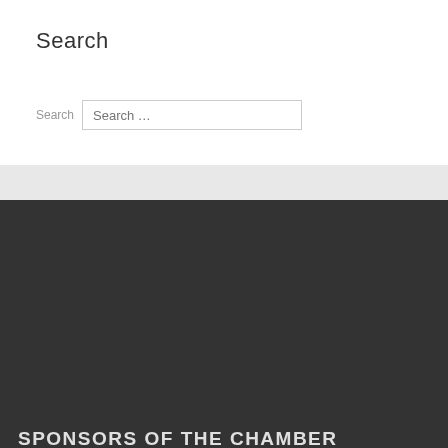Search
Search  Search …
SPONSORS OF THE CHAMBER CONCERTS
The Cologne Chamber Concerts in the Kunstverein take place with the support of the Cultural Office of the City of Cologne, the Arts Foundation of NRW, the Ministry of Culture and Science in North Rhine-Westphalia and the RheinEnergie Stiftung Kultur. As well as our board of trustees and sponsoring members of the Kölner Klassik Ensemble e.V.